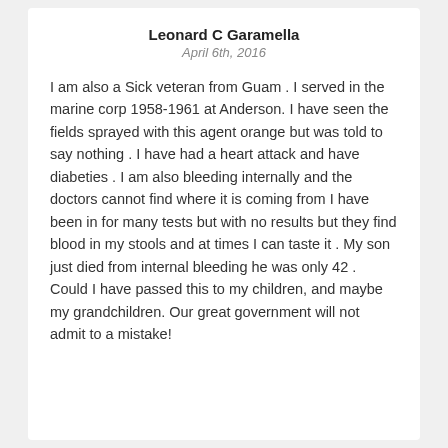Leonard C Garamella
April 6th, 2016
I am also a Sick veteran from Guam . I served in the marine corp 1958-1961 at Anderson. I have seen the fields sprayed with this agent orange but was told to say nothing . I have had a heart attack and have diabeties . I am also bleeding internally and the doctors cannot find where it is coming from I have been in for many tests but with no results but they find blood in my stools and at times I can taste it . My son just died from internal bleeding he was only 42 . Could I have passed this to my children, and maybe my grandchildren. Our great government will not admit to a mistake!